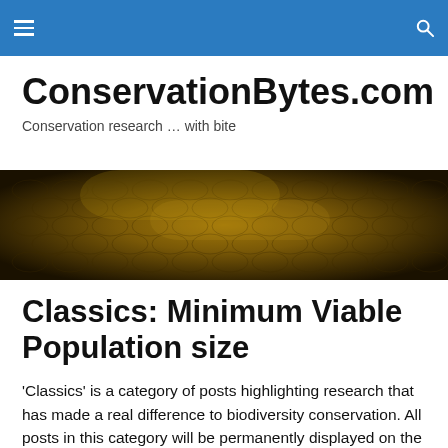ConservationBytes.com navigation bar
ConservationBytes.com
Conservation research … with bite
[Figure (photo): Close-up photograph of crocodile or alligator scaly skin in golden-brown tones]
Classics: Minimum Viable Population size
'Classics' is a category of posts highlighting research that has made a real difference to biodiversity conservation. All posts in this category will be permanently displayed on the Classics page of ConservationBytes.com